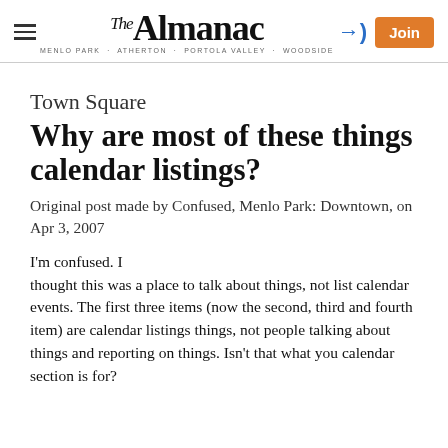The Almanac — MENLO PARK · ATHERTON · PORTOLA VALLEY · WOODSIDE
Town Square
Why are most of these things calendar listings?
Original post made by Confused, Menlo Park: Downtown, on Apr 3, 2007
I'm confused. I thought this was a place to talk about things, not list calendar events. The first three items (now the second, third and fourth item) are calendar listings things, not people talking about things and reporting on things. Isn't that what you calendar section is for?